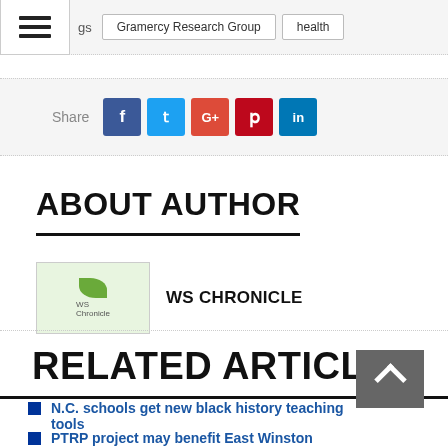Tags: Gramercy Research Group | health
Share
ABOUT AUTHOR
WS CHRONICLE
RELATED ARTICLES
N.C. schools get new black history teaching tools
PTRP project may benefit East Winston